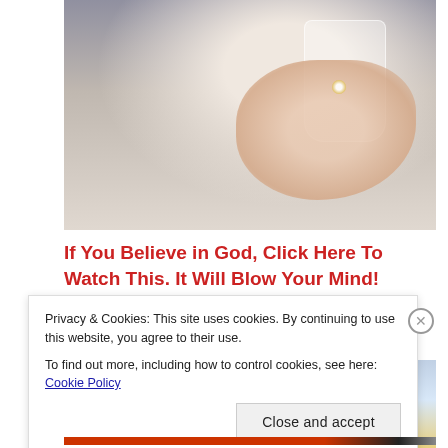[Figure (photo): Photo of hands holding a glass, person wearing a ring, gray chair visible in background]
If You Believe in God, Click Here To Watch This. It Will Blow Your Mind!
[Figure (photo): Photo of a statue or monument on a tall pole against a cloudy sky]
Privacy & Cookies: This site uses cookies. By continuing to use this website, you agree to their use.
To find out more, including how to control cookies, see here: Cookie Policy
Close and accept